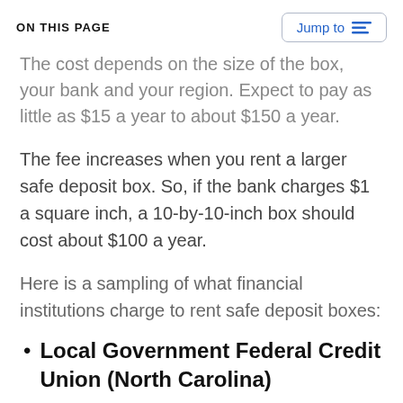ON THIS PAGE
The cost depends on the size of the box, your bank and your region. Expect to pay as little as $15 a year to about $150 a year.
The fee increases when you rent a larger safe deposit box. So, if the bank charges $1 a square inch, a 10-by-10-inch box should cost about $100 a year.
Here is a sampling of what financial institutions charge to rent safe deposit boxes:
Local Government Federal Credit Union (North Carolina)